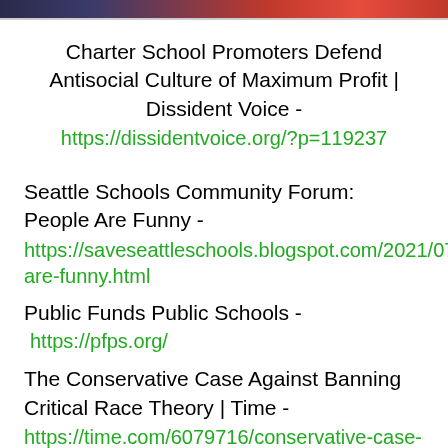[Figure (photo): Partial image strip at the top of the page showing people, cropped.]
Charter School Promoters Defend Antisocial Culture of Maximum Profit | Dissident Voice - https://dissidentvoice.org/?p=119237
Seattle Schools Community Forum: People Are Funny - https://saveseattleschools.blogspot.com/2021/07/people-are-funny.html
Public Funds Public Schools - https://pfps.org/
The Conservative Case Against Banning Critical Race Theory | Time - https://time.com/6079716/conservative-case-against-banning-critical-race-theory/